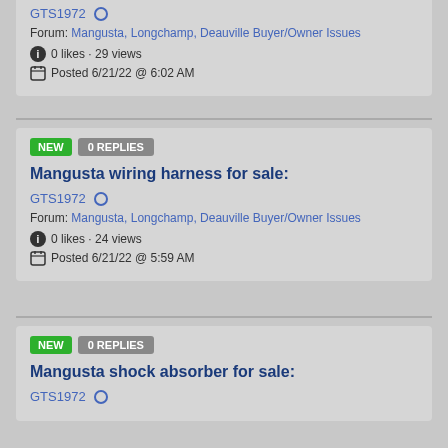GTS1972 — 0 likes · 29 views — Posted 6/21/22 @ 6:02 AM — Forum: Mangusta, Longchamp, Deauville Buyer/Owner Issues
NEW 0 REPLIES
Mangusta wiring harness for sale:
GTS1972
Forum: Mangusta, Longchamp, Deauville Buyer/Owner Issues
0 likes · 24 views
Posted 6/21/22 @ 5:59 AM
NEW 0 REPLIES
Mangusta shock absorber for sale:
GTS1972